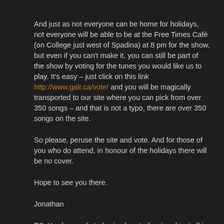And just as not everyone can be home for holidays, not everyone will be able to be at the Free Times Café (on College just west of Spadina) at 8 pm for the show, but even if you can't make it, you can still be part of the show by voting for the tunes you would like us to play. It's easy – just click on this link http://www.galr.ca/vote/ and you will be magically transported to our site where you can pick from over 350 songs – and that is not a typo, there are over 350 songs on the site.
So please, peruse the site and vote. And for those of you who do attend, in honour of the holidays there will be no cover.
Hope to see you there.
Jonathan
PS. You know what else is abrupt, direct and just all in your face – of course you do – bagpipes.